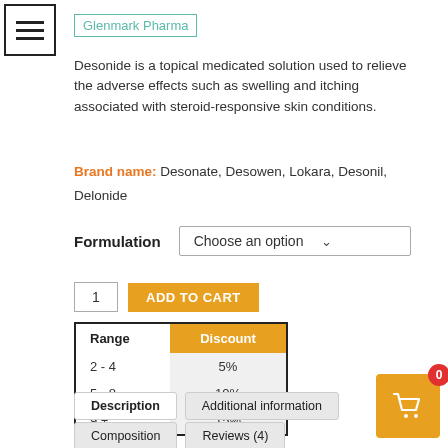[Figure (logo): Menu/hamburger icon in a square border, top-left corner]
Glenmark Pharma
Desonide is a topical medicated solution used to relieve the adverse effects such as swelling and itching associated with steroid-responsive skin conditions.
Brand name: Desonate, Desowen, Lokara, Desonil, Delonide
Formulation  Choose an option
1  ADD TO CART
| Range | Discount |
| --- | --- |
| 2 - 4 | 5% |
| 5 - 8 | 10% |
| 9 + | 15% |
Description | Additional information | Composition | Reviews (4)
[Figure (infographic): Orange shopping cart floating button with red badge showing 0]